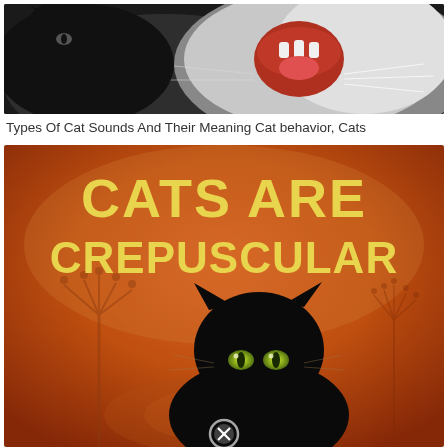[Figure (photo): Close-up photo of a cat with mouth open, showing teeth, partially in black and white tones with a white cat visible]
Types Of Cat Sounds And Their Meaning Cat behavior, Cats
[Figure (infographic): Orange-toned infographic with large bold yellow text reading 'CATS ARE CREPUSCULAR' and a black cat with glowing eyes sitting in foreground against orange background with plant silhouettes. A close/X button icon at the bottom center.]